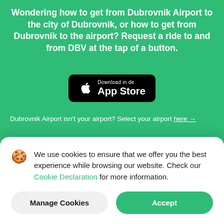Wondering how to get from Dubrovnik Airport to the city of Dubrovnik, or how to get from Dubrovnik to the airport? Request a ride to and from DBV at the tap of a button.
[Figure (other): Download in de App Store button — black rounded rectangle with Apple logo and text 'Download in de App Store']
Dubrovnik Airport isn't your airport? Select your airport here →
We use cookies to ensure that we offer you the best experience while browsing our website. Check our Cookie Declaration for more information.
Manage Cookies
Accept